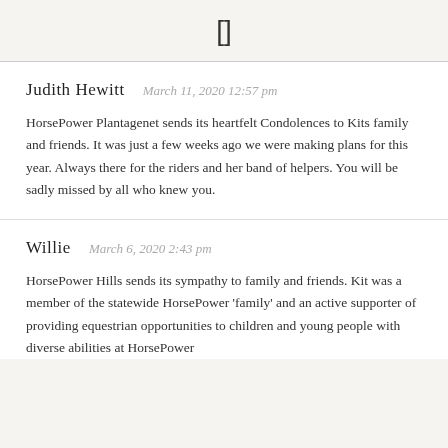[]
Judith Hewitt   March 11, 2020 12:57 pm
HorsePower Plantagenet sends its heartfelt Condolences to Kits family and friends. It was just a few weeks ago we were making plans for this year. Always there for the riders and her band of helpers. You will be sadly missed by all who knew you.
Willie   March 6, 2020 2:43 pm
HorsePower Hills sends its sympathy to family and friends. Kit was a member of the statewide HorsePower 'family' and an active supporter of providing equestrian opportunities to children and young people with diverse abilities at HorsePower